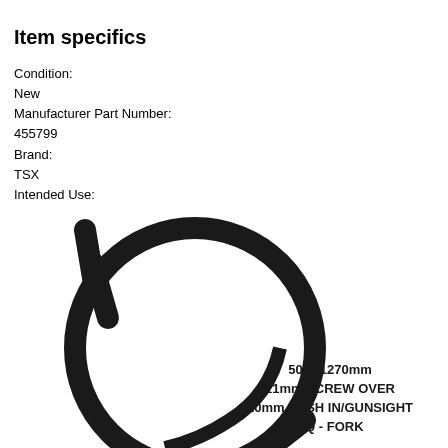Item specifics
Condition:
New
Manufacturer Part Number:
455799
Brand:
TSX
Intended Use:
Replacement Part
[Figure (photo): Black coiled bicycle brake or gear cable on white background with text overlay: 50" / 1270mm, 11mm SCREW OVER, 10mm PUSH IN/GUNSIGHT, SQ - FORK]